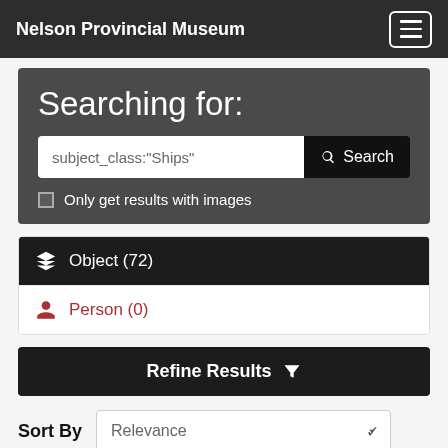Nelson Provincial Museum
Searching for:
subject_class:"Ships"
Only get results with images
Object (72)
Person (0)
Refine Results
Sort By Relevance